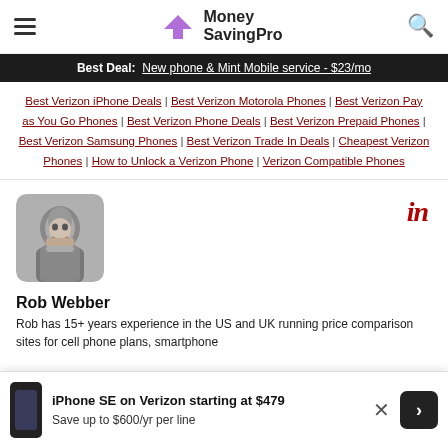Money SavingPro
Best Deal: New phone & Mint Mobile service - $23/mo
Best Verizon iPhone Deals | Best Verizon Motorola Phones | Best Verizon Pay as You Go Phones | Best Verizon Phone Deals | Best Verizon Prepaid Phones | Best Verizon Samsung Phones | Best Verizon Trade In Deals | Cheapest Verizon Phones | How to Unlock a Verizon Phone | Verizon Compatible Phones
[Figure (photo): Black and white headshot of Rob Webber, smiling man with beard]
Rob Webber
Rob has 15+ years experience in the US and UK running price comparison sites for cell phone plans, smartphone
iPhone SE on Verizon starting at $479
Save up to $600/yr per line